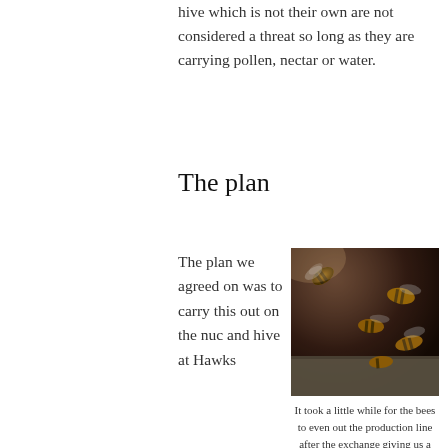hive which is not their own are not considered a threat so long as they are carrying pollen, nectar or water.
The plan
The plan we agreed on was to carry this out on the nuc and hive at Hawks
[Figure (photo): Close-up photograph of honeybees at the entrance of a hive, showing bees in motion on a wooden surface.]
It took a little while for the bees to even out the production line after the exchange giving us a chance to capture some nice pics.